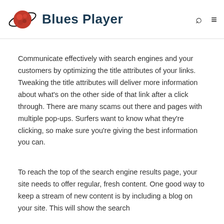Blues Player
Communicate effectively with search engines and your customers by optimizing the title attributes of your links. Tweaking the title attributes will deliver more information about what's on the other side of that link after a click through. There are many scams out there and pages with multiple pop-ups. Surfers want to know what they're clicking, so make sure you're giving the best information you can.
To reach the top of the search engine results page, your site needs to offer regular, fresh content. One good way to keep a stream of new content is by including a blog on your site. This will show the search